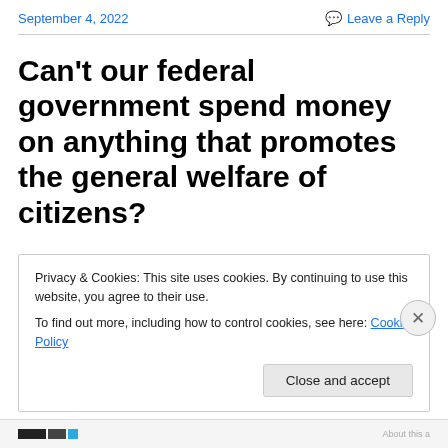September 4, 2022   Leave a Reply
Can't our federal government spend money on anything that promotes the general welfare of citizens?
Here is what one of our founding fathers, James Madison, said about our Constitution and the 'general welfare'
Privacy & Cookies: This site uses cookies. By continuing to use this website, you agree to their use. To find out more, including how to control cookies, see here: Cookie Policy
Close and accept